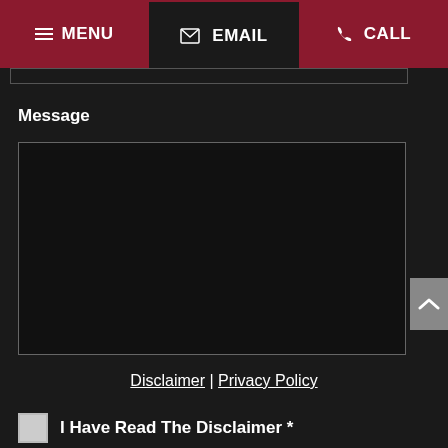MENU | EMAIL | CALL
Message
[Figure (screenshot): Empty message textarea input field with dark background and grey border]
Disclaimer | Privacy Policy
I Have Read The Disclaimer *